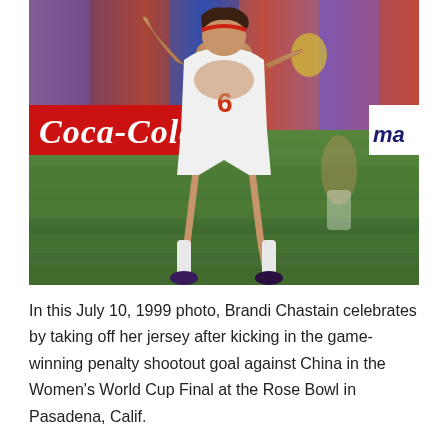[Figure (photo): Brandi Chastain celebrating on a soccer field, wearing white uniform with number 6, arms raised, after kicking the game-winning penalty shootout goal. A Coca-Cola advertising banner is visible in the background along with a crowd of spectators.]
In this July 10, 1999 photo, Brandi Chastain celebrates by taking off her jersey after kicking in the game-winning penalty shootout goal against China in the Women's World Cup Final at the Rose Bowl in Pasadena, Calif.